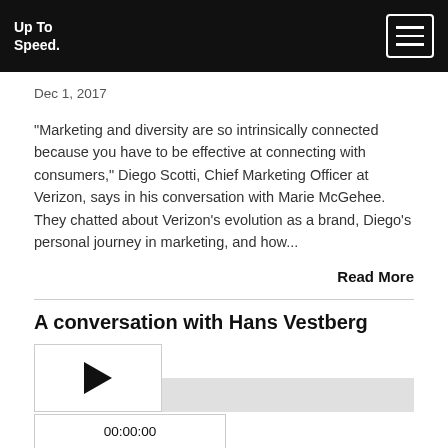Up To Speed.
Dec 1, 2017
“Marketing and diversity are so intrinsically connected because you have to be effective at connecting with consumers,” Diego Scotti, Chief Marketing Officer at Verizon, says in his conversation with Marie McGehee. They chatted about Verizon’s evolution as a brand, Diego’s personal journey in marketing, and how...
Read More
A conversation with Hans Vestberg
[Figure (other): Audio player with play button, progress bar, and time display showing 00:00:00]
Oct 31, 2017